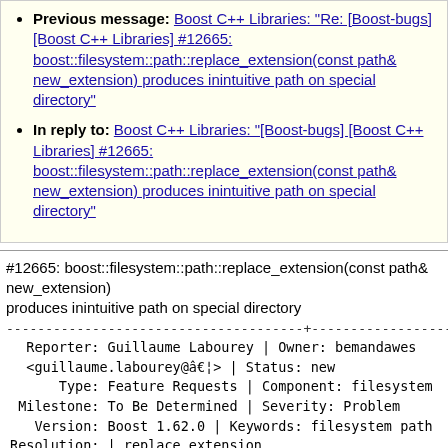Previous message: Boost C++ Libraries: "Re: [Boost-bugs] [Boost C++ Libraries] #12665: boost::filesystem::path::replace_extension(const path& new_extension) produces inintuitive path on special directory"
In reply to: Boost C++ Libraries: "[Boost-bugs] [Boost C++ Libraries] #12665: boost::filesystem::path::replace_extension(const path& new_extension) produces inintuitive path on special directory"
#12665: boost::filesystem::path::replace_extension(const path& new_extension) produces inintuitive path on special directory
Reporter: Guillaume Labourey | Owner: bemandawes <guillaume.labourey@â€¦> | Status: new Type: Feature Requests | Component: filesystem Milestone: To Be Determined | Severity: Problem Version: Boost 1.62.0 | Keywords: filesystem path Resolution: | replace_extension